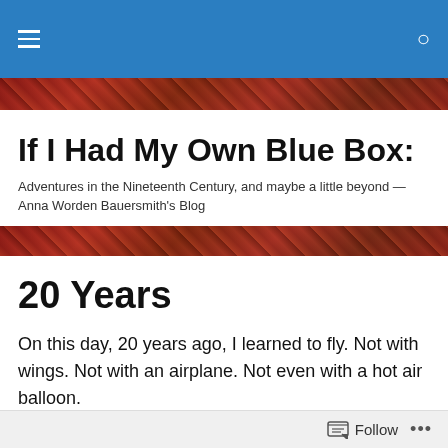Navigation bar with hamburger menu and search icon
[Figure (photo): Decorative header image with red floral/textile pattern]
If I Had My Own Blue Box:
Adventures in the Nineteenth Century, and maybe a little beyond — Anna Worden Bauersmith's Blog
[Figure (photo): Decorative bottom header image with red floral/textile pattern]
20 Years
On this day, 20 years ago, I learned to fly. Not with wings. Not with an airplane. Not even with a hot air balloon.
I still remember the feeling of completely letting go and accepting whatever happened next. It came seconds, if even, after passing a salt truck and wondering why in the
Follow ...